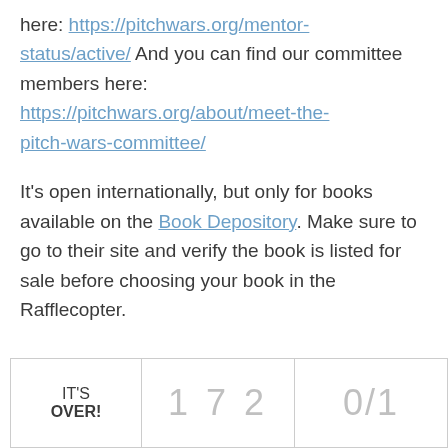here: https://pitchwars.org/mentor-status/active/ And you can find our committee members here: https://pitchwars.org/about/meet-the-pitch-wars-committee/
It's open internationally, but only for books available on the Book Depository. Make sure to go to their site and verify the book is listed for sale before choosing your book in the Rafflecopter.
| IT'S OVER! | 1 7 2 | 0/1 |
| --- | --- | --- |